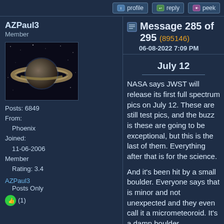profile | reply | peek
AZPaul3
Member
[Figure (photo): Avatar image showing Saturn planet with rings against dark space background]
Posts: 6849
From:
    Phoenix
Joined:
    11-06-2006
Member
    Rating: 3.4
AZPaul3
Posts Only
(1)
Message 285 of 295 (895146)
06-08-2022 7:09 PM
July 12
NASA says JWST will release its first full spectrum pics on July 12. These are still test pics, and the buzz is these are going to be exceptional, but this is the last of them. Everything after that is for the science.
And it's been hit by a small boulder. Everyone says that is minor and not unexpected and they even call it a micrometeoroid. It's a damn boulder.
Ok, they are the smart guys, but the scope hasn't been up there all that long and it's already got a ding? That probability spread seems a little front loaded to me. This thing is supposed to last forever, give or take 15